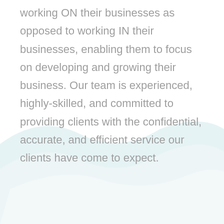working ON their businesses as opposed to working IN their businesses, enabling them to focus on developing and growing their business. Our team is experienced, highly-skilled, and committed to providing clients with the confidential, accurate, and efficient service our clients have come to expect.
[Figure (illustration): A light blue/teal wave shape forming a decorative background element in the lower half of the page, with a lighter interior area suggesting a bowl or wave shape.]